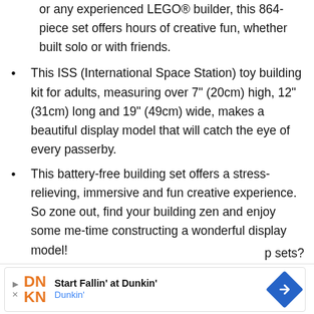or any experienced LEGO® builder, this 864-piece set offers hours of creative fun, whether built solo or with friends.
This ISS (International Space Station) toy building kit for adults, measuring over 7" (20cm) high, 12" (31cm) long and 19" (49cm) wide, makes a beautiful display model that will catch the eye of every passerby.
This battery-free building set offers a stress-relieving, immersive and fun creative experience. So zone out, find your building zen and enjoy some me-time constructing a wonderful display model!
Thinking of buying this International Space
p sets?
[Figure (other): Advertisement banner for Dunkin' with orange DN KN logo, text 'Start Fallin' at Dunkin'' and blue navigation arrow icon]